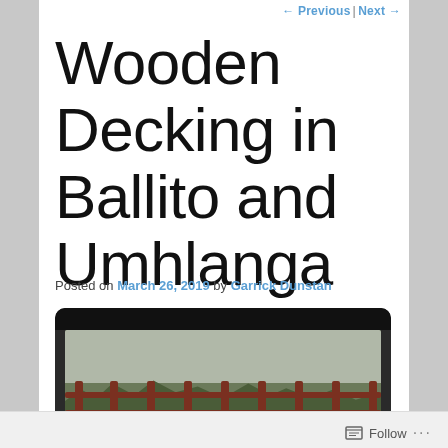← Previous   Next →
Wooden Decking in Ballito and Umhlanga
Posted on March 26, 2019 by Garrick Dunstan
[Figure (photo): Photo of a wooden deck with red/brown metal railing and trees in the background, displayed in a dark rounded frame.]
Follow